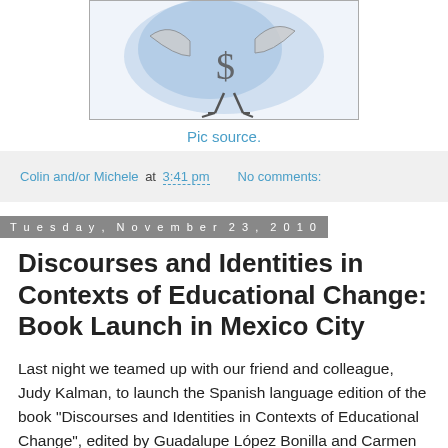[Figure (illustration): Partial view of an illustration showing a bird-like figure with a dollar sign on a blue watercolor background, inside a bordered frame]
Pic source.
Colin and/or Michele at 3:41 pm    No comments:
Tuesday, November 23, 2010
Discourses and Identities in Contexts of Educational Change: Book Launch in Mexico City
Last night we teamed up with our friend and colleague, Judy Kalman, to launch the Spanish language edition of the book "Discourses and Identities in Contexts of Educational Change", edited by Guadalupe López Bonilla and Carmen Pérez Fragoso.